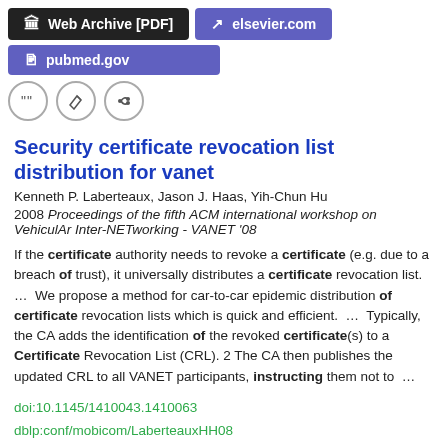[Figure (screenshot): Web Archive [PDF] button (dark background) and elsevier.com button (purple background)]
[Figure (screenshot): pubmed.gov button (purple background)]
[Figure (screenshot): Three icon circle buttons: quote, edit/pencil, link]
Security certificate revocation list distribution for vanet
Kenneth P. Laberteaux, Jason J. Haas, Yih-Chun Hu
2008 Proceedings of the fifth ACM international workshop on VehiculAr Inter-NETworking - VANET '08
If the certificate authority needs to revoke a certificate (e.g. due to a breach of trust), it universally distributes a certificate revocation list.  ...  We propose a method for car-to-car epidemic distribution of certificate revocation lists which is quick and efficient.  ...  Typically, the CA adds the identification of the revoked certificate(s) to a Certificate Revocation List (CRL). 2 The CA then publishes the updated CRL to all VANET participants, instructing them not to  ...
doi:10.1145/1410043.1410063
dblp:conf/mobicom/LaberteauxHH08
fatcat:yvobvlxs5jg5zpqfji5mej7xxy